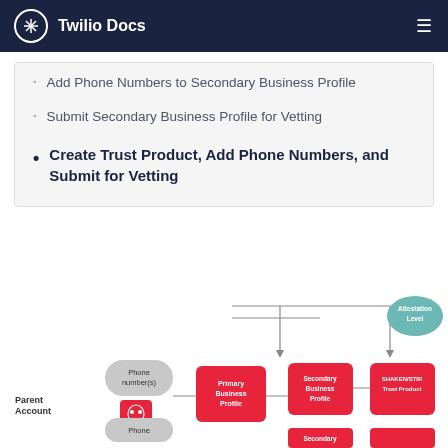Twilio Docs
Add Phone Numbers to Secondary Business Profile
Submit Secondary Business Profile for Vetting
Create Trust Product, Add Phone Numbers, and Submit for Vetting
[Figure (flowchart): Flowchart showing Parent Account with Phone number(s) and Phone nodes connecting to Primary Business Profile, then to Secondary Business Profile and SHAKEN/STIR Trust Product, with an Attestation Level node at top right, and Secondary node at bottom.]